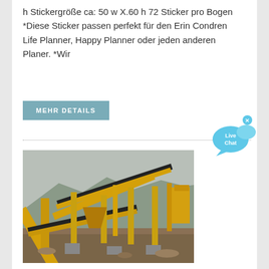h Stickergröße ca: 50 w X.60 h 72 Sticker pro Bogen *Diese Sticker passen perfekt für den Erin Condren Life Planner, Happy Planner oder jeden anderen Planer. *Wir
MEHR DETAILS
[Figure (photo): Industrial mining/crushing equipment with yellow steel conveyor frames and machinery in a mountainous foggy outdoor setting.]
[Figure (illustration): Live Chat speech bubble icon in blue with 'Live Chat' text and an X close button.]